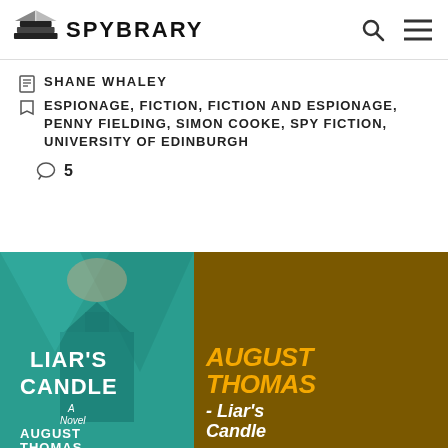[Figure (logo): Spybrary logo with book icon and text SPYBRARY]
SHANE WHALEY
ESPIONAGE, FICTION, FICTION AND ESPIONAGE, PENNY FIELDING, SIMON COOKE, SPY FICTION, UNIVERSITY OF EDINBURGH
5
[Figure (photo): Book covers: Liar's Candle by August Thomas (teal cover on left) and promotional image with AUGUST THOMAS - Liar's Candle text on brown/dark yellow background on right]